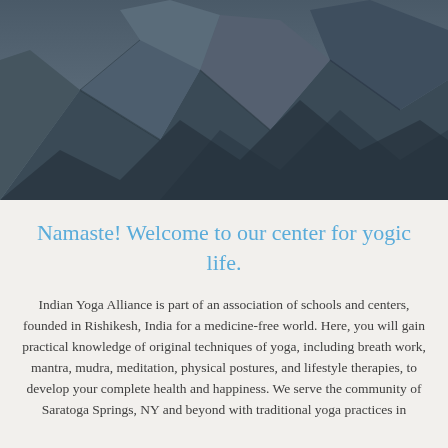[Figure (photo): Close-up photograph of dark bluish-grey rocky terrain with large stones and crevices]
Namaste! Welcome to our center for yogic life.
Indian Yoga Alliance is part of an association of schools and centers, founded in Rishikesh, India for a medicine-free world. Here, you will gain practical knowledge of original techniques of yoga, including breath work, mantra, mudra, meditation, physical postures, and lifestyle therapies, to develop your complete health and happiness. We serve the community of Saratoga Springs, NY and beyond with traditional yoga practices in